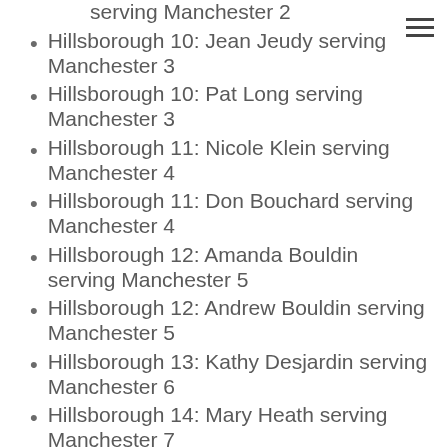serving Manchester 2
Hillsborough 10: Jean Jeudy serving Manchester 3
Hillsborough 10: Pat Long serving Manchester 3
Hillsborough 11: Nicole Klein serving Manchester 4
Hillsborough 11: Don Bouchard serving Manchester 4
Hillsborough 12: Amanda Bouldin serving Manchester 5
Hillsborough 12: Andrew Bouldin serving Manchester 5
Hillsborough 13: Kathy Desjardin serving Manchester 6
Hillsborough 14: Mary Heath serving Manchester 7
Hillsborough 14: Mary Freitas serving Manchester 7
Hillsborough 15: Erika Connors serving Manchester 8
Hillsborough 16: Josh Query serving Manchester 9